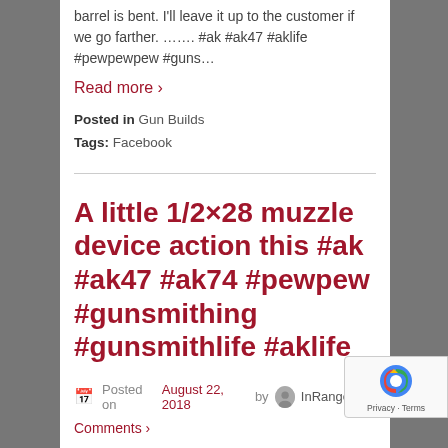barrel is bent. I'll leave it up to the customer if we go farther. ……. #ak #ak47 #aklife #pewpewpew #guns…
Read more ›
Posted in Gun Builds
Tags: Facebook
A little 1/2×28 muzzle device action this #ak #ak47 #ak74 #pewpew #gunsmithing #gunsmithlife #aklife
Posted on August 22, 2018 by InRange
Comments ›